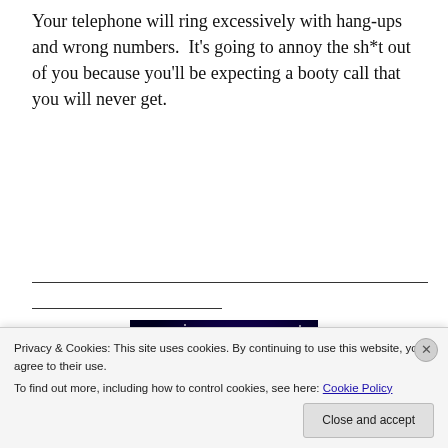Your telephone will ring excessively with hang-ups and wrong numbers.  It's going to annoy the sh*t out of you because you'll be expecting a booty call that you will never get.
[Figure (illustration): Fantasy/astrology themed illustration showing a figure (possibly Aquarius or a water-bearer) in a cosmic/space setting with purple and blue tones, a body of water, and a glowing light in the background.]
Privacy & Cookies: This site uses cookies. By continuing to use this website, you agree to their use.
To find out more, including how to control cookies, see here: Cookie Policy